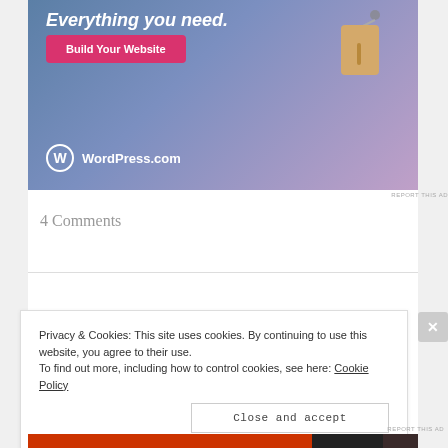[Figure (illustration): WordPress.com advertisement banner with gradient blue-to-pink background, a price tag illustration, 'Build Your Website' pink button, and WordPress.com logo at bottom left.]
REPORT THIS AD
4 Comments
Privacy & Cookies: This site uses cookies. By continuing to use this website, you agree to their use.
To find out more, including how to control cookies, see here: Cookie Policy
Close and accept